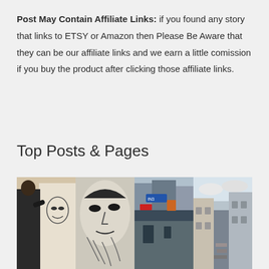Post May Contain Affiliate Links: if you found any story that links to ETSY or Amazon then Please Be Aware that they can be our affiliate links and we earn a little comission if you buy the product after clicking those affiliate links.
Top Posts & Pages
[Figure (photo): Four photos side by side: a man in black shirt painting a mural, a close-up of a face mural artwork, a city street with shops and signs, and a narrow alley between buildings]